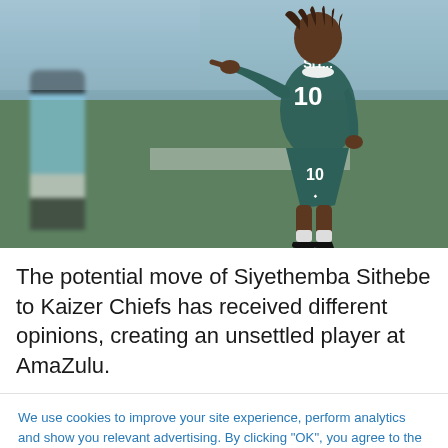[Figure (photo): A football player wearing a dark teal/green jersey with number 10 and matching shorts, pointing with right arm extended, on a football pitch. Another player in light blue is visible blurred in the background.]
The potential move of Siyethemba Sithebe to Kaizer Chiefs has received different opinions, creating an unsettled player at AmaZulu.
We use cookies to improve your site experience, perform analytics and show you relevant advertising. By clicking "OK", you agree to the storing of cookies on your device. View our Privacy Portal Cookie Policy & Cookie FAQs